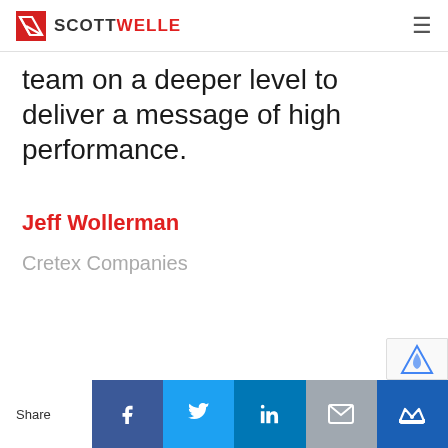SCOTT WELLE
team on a deeper level to deliver a message of high performance.
Jeff Wollerman
Cretex Companies
Share | Facebook | Twitter | LinkedIn | Email | Crown